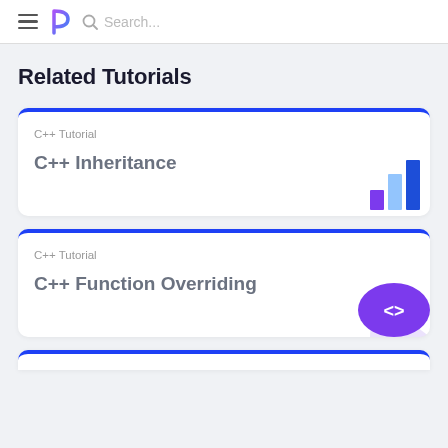Search...
Related Tutorials
C++ Tutorial
C++ Inheritance
C++ Tutorial
C++ Function Overriding